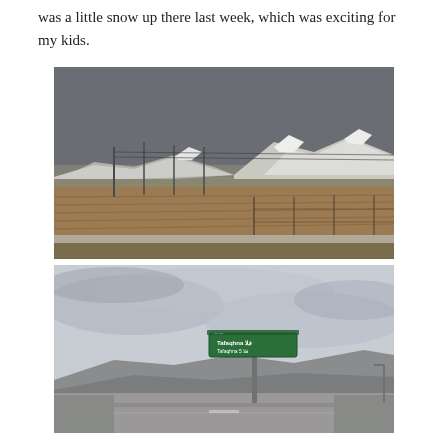was a little snow up there last week, which was exciting for my kids.
[Figure (photo): Landscape photograph showing snow-capped mountains in the background under a grey overcast sky, with flat agricultural farmland fields in the foreground and utility poles visible, taken from a moving vehicle.]
[Figure (photo): Photograph showing a highway road sign with Arabic and English text on a green board mounted on a metal pole, under a grey cloudy sky, with hills and road visible in the background.]